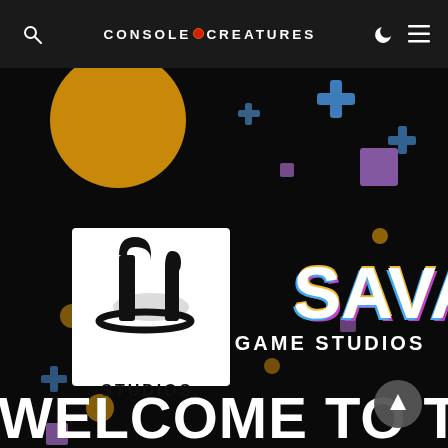CONSOLE CREATURES
[Figure (screenshot): Dark promotional banner image showing PlayStation Studios logo on the left and Savage Game Studios colorful logo on the right, with decorative geometric shapes (blue crosses, purple squares, gold circles) scattered across the black background. Large white bold text at the bottom reads 'WELCOME TO THE FAMILY'.]